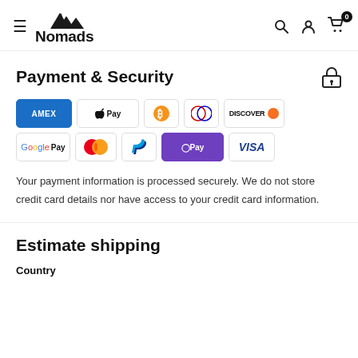Nomads — navigation header with hamburger menu, logo, search, account, and cart (0)
Payment & Security
[Figure (infographic): Payment method logos: AMEX, Apple Pay, Bitcoin, Diners Club, Discover, Google Pay, Mastercard, PayPal, OPay, Visa]
Your payment information is processed securely. We do not store credit card details nor have access to your credit card information.
Estimate shipping
Country